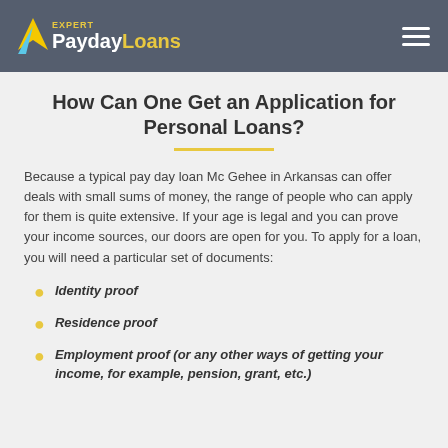PaydayLoans Expert
How Can One Get an Application for Personal Loans?
Because a typical pay day loan Mc Gehee in Arkansas can offer deals with small sums of money, the range of people who can apply for them is quite extensive. If your age is legal and you can prove your income sources, our doors are open for you. To apply for a loan, you will need a particular set of documents:
Identity proof
Residence proof
Employment proof (or any other ways of getting your income, for example, pension, grant, etc.)